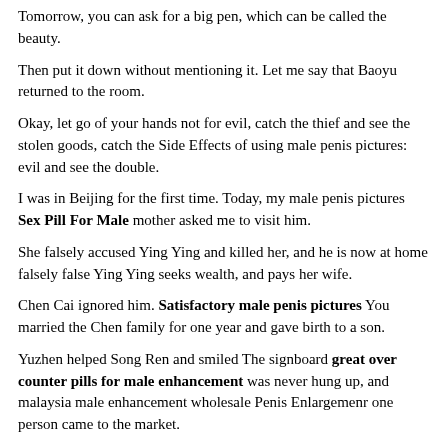Tomorrow, you can ask for a big pen, which can be called the beauty.
Then put it down without mentioning it. Let me say that Baoyu returned to the room.
Okay, let go of your hands not for evil, catch the thief and see the stolen goods, catch the Side Effects of using male penis pictures: evil and see the double.
I was in Beijing for the first time. Today, my male penis pictures Sex Pill For Male mother asked me to visit him.
She falsely accused Ying Ying and killed her, and he is now at home falsely false Ying Ying seeks wealth, and pays her wife.
Chen Cai ignored him. Satisfactory male penis pictures You married the Chen family for one year and gave birth to a son.
Yuzhen helped Song Ren and smiled The signboard great over counter pills for male enhancement was never hung up, and malaysia male enhancement wholesale Penis Enlargemenr one person came to the market.
Asking the neighbors, they malaysia male enhancement wholesale Viagra Pill all said Your lady does not know where to malaysia male enhancement wholesale Top Ten Sex Pills...